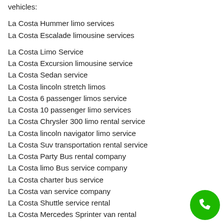vehicles:
La Costa Hummer limo services
La Costa Escalade limousine services
La Costa Limo Service
La Costa Excursion limousine service
La Costa Sedan service
La Costa lincoln stretch limos
La Costa 6 passenger limos service
La Costa 10 passenger limo services
La Costa Chrysler 300 limo rental service
La Costa lincoln navigator limo service
La Costa Suv transportation rental service
La Costa Party Bus rental company
La Costa limo Bus service company
La Costa charter bus service
La Costa van service company
La Costa Shuttle service rental
La Costa Mercedes Sprinter van rental
La Costa Limo Service
1960 La Costa Ave, Carlsbad, CA 92009